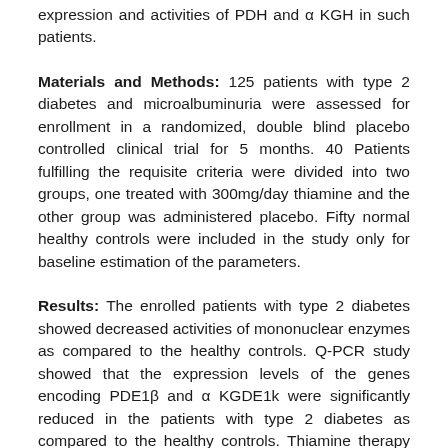expression and activities of PDH and α KGH in such patients.
Materials and Methods: 125 patients with type 2 diabetes and microalbuminuria were assessed for enrollment in a randomized, double blind placebo controlled clinical trial for 5 months. 40 Patients fulfilling the requisite criteria were divided into two groups, one treated with 300mg/day thiamine and the other group was administered placebo. Fifty normal healthy controls were included in the study only for baseline estimation of the parameters.
Results: The enrolled patients with type 2 diabetes showed decreased activities of mononuclear enzymes as compared to the healthy controls. Q-PCR study showed that the expression levels of the genes encoding PDE1β and α KGDE1k were significantly reduced in the patients with type 2 diabetes as compared to the healthy controls. Thiamine therapy resulted in significant increases in the expression of PDE1β and α KGDE1 genes, which persisted even 2 months after the washout. Thiamine therapy